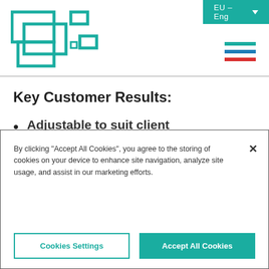[Figure (logo): Teal geometric logo made of overlapping rectangular outlines]
EU – Eng
Key Customer Results:
Adjustable to suit client requirements: Adjustable to suit a wide range of case geometries. All the devices on the
By clicking "Accept All Cookies", you agree to the storing of cookies on your device to enhance site navigation, analyze site usage, and assist in our marketing efforts.
Cookies Settings | Accept All Cookies